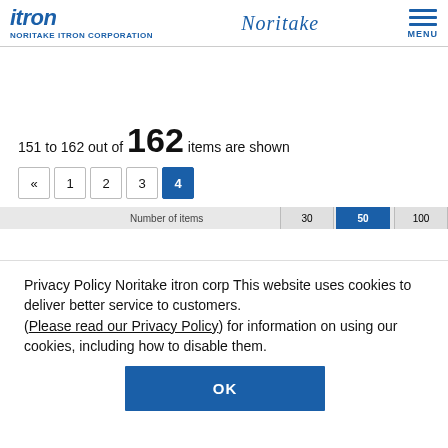itron NORITAKE ITRON CORPORATION | Noritake | MENU
151 to 162 out of 162 items are shown
Pagination: « 1 2 3 4
Privacy Policy Noritake itron corp This website uses cookies to deliver better service to customers. (Please read our Privacy Policy) for information on using our cookies, including how to disable them.
OK